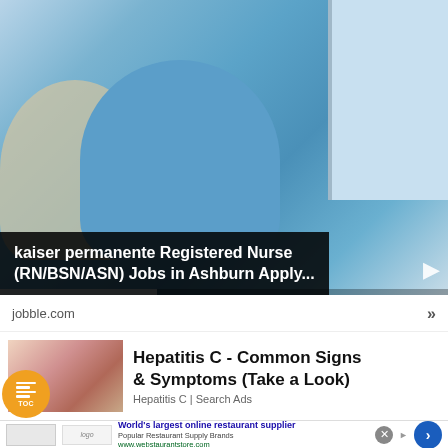[Figure (photo): A smiling nurse in blue scrubs with a stethoscope attending to an elderly patient. Hospital/care setting with window in background.]
kaiser permanente Registered Nurse (RN/BSN/ASN) Jobs in Ashburn Apply...
jobble.com
Hepatitis C - Common Signs & Symptoms (Take a Look)
Hepatitis C | Search Ads
World's largest online restaurant supplier
Popular Restaurant Supply Brands
www.webstaurantstore.com